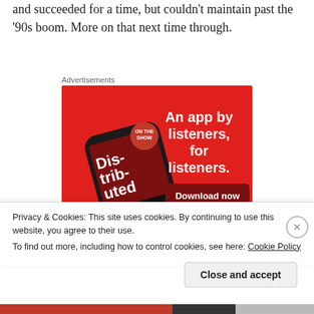and succeeded for a time, but couldn't maintain past the '90s boom. More on that next time through.
Advertisements
[Figure (illustration): Pocket Casts advertisement on red background showing a smartphone with the Distributed podcast app open. Text reads 'An app by listeners, for listeners.' with a 'Download now' button and Pocket Casts logo.]
Privacy & Cookies: This site uses cookies. By continuing to use this website, you agree to their use.
To find out more, including how to control cookies, see here: Cookie Policy
Close and accept